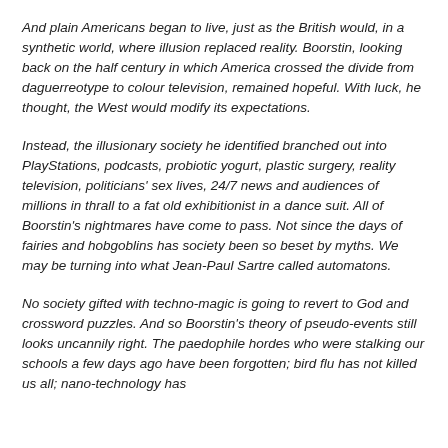And plain Americans began to live, just as the British would, in a synthetic world, where illusion replaced reality. Boorstin, looking back on the half century in which America crossed the divide from daguerreotype to colour television, remained hopeful. With luck, he thought, the West would modify its expectations.
Instead, the illusionary society he identified branched out into PlayStations, podcasts, probiotic yogurt, plastic surgery, reality television, politicians' sex lives, 24/7 news and audiences of millions in thrall to a fat old exhibitionist in a dance suit. All of Boorstin's nightmares have come to pass. Not since the days of fairies and hobgoblins has society been so beset by myths. We may be turning into what Jean-Paul Sartre called automatons.
No society gifted with techno-magic is going to revert to God and crossword puzzles. And so Boorstin's theory of pseudo-events still looks uncannily right. The paedophile hordes who were stalking our schools a few days ago have been forgotten; bird flu has not killed us all; nano-technology has